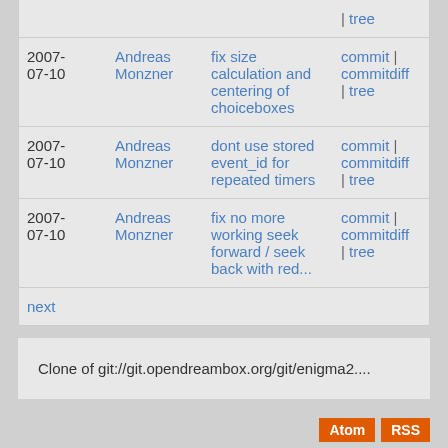| Date | Author | Message | Links |
| --- | --- | --- | --- |
|  |  |  | | tree |
| 2007-07-10 | Andreas Monzner | fix size calculation and centering of choiceboxes | commit | commitdiff | tree |
| 2007-07-10 | Andreas Monzner | dont use stored event_id for repeated timers | commit | commitdiff | tree |
| 2007-07-10 | Andreas Monzner | fix no more working seek forward / seek back with red... | commit | commitdiff | tree |
| next |  |  |  |
Clone of git://git.opendreambox.org/git/enigma2....
Atom  RSS